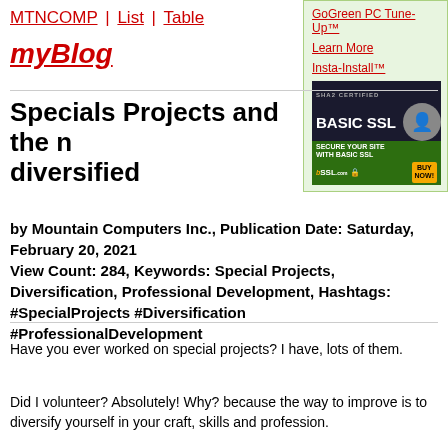MTNCOMP | List | Table
myBlog
[Figure (other): Sidebar advertisement box with green background containing links: GoGreen PC Tune-Up™, Learn More, Insta-Install™, and a Basic SSL advertisement banner showing SHA2 Certified Basic SSL with an image and Buy Now button.]
Specials Projects and the n diversified
by Mountain Computers Inc., Publication Date: Saturday, February 20, 2021
View Count: 284, Keywords: Special Projects, Diversification, Professional Development, Hashtags: #SpecialProjects #Diversification #ProfessionalDevelopment
Have you ever worked on special projects? I have, lots of them.
Did I volunteer? Absolutely! Why? because the way to improve is to diversify yourself in your craft, skills and profession.